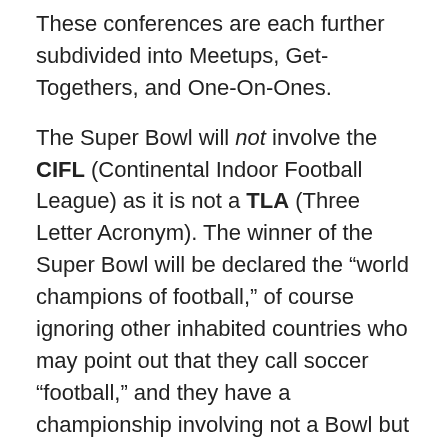These conferences are each further subdivided into Meetups, Get-Togethers, and One-On-Ones.
The Super Bowl will not involve the CIFL (Continental Indoor Football League) as it is not a TLA (Three Letter Acronym). The winner of the Super Bowl will be declared the “world champions of football,” of course ignoring other inhabited countries who may point out that they call soccer “football,” and they have a championship involving not a Bowl but a Cup. And involvement from teams from outer space is out of the question. For space action, we’ll have